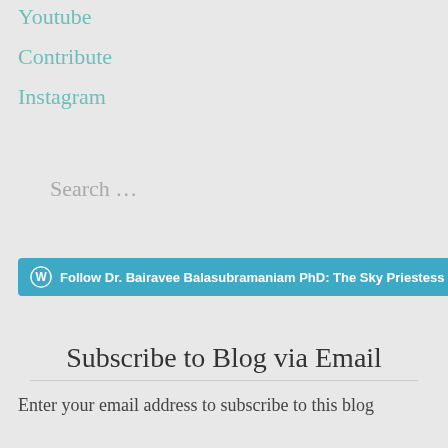Youtube
Contribute
Instagram
Search …
[Figure (other): Follow button for Dr. Bairavee Balasubramaniam PhD: The Sky Priestess on WordPress]
Subscribe to Blog via Email
Enter your email address to subscribe to this blog